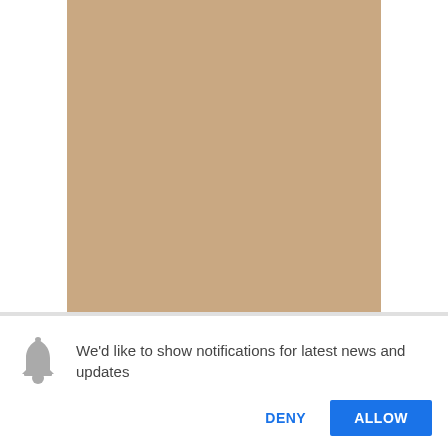[Figure (photo): A tan/beige colored rectangular image area occupying the upper portion of the page]
We'd like to show notifications for latest news and updates
DENY
ALLOW